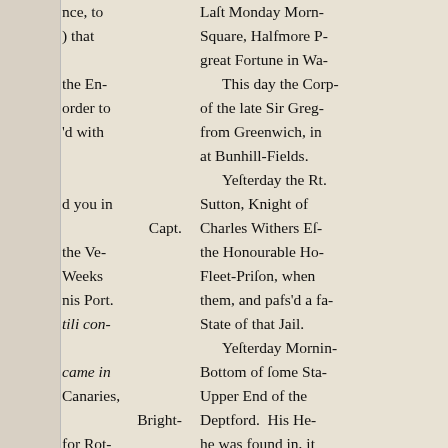nce, to
) that
the En-
order to
'd with
d you in
Capt.
the Ve-
Weeks
nis Port.
tili con-
came in
Canaries,
Bright-
for Rot-
Harrison,
George
Last Monday Morn- Square, Halfmore P- great Fortune in Wa- This day the Corp- of the late Sir Greg- from Greenwich, in at Bunhill-Fields. Yesterday the Rt. Sutton, Knight of Charles Withers Es- the Honourable Ho- Fleet-Prison, when them, and pafs'd a fa- State of that Jail. Yesterday Mornin- Bottom of some Sta- Upper End of the Deptford. His He- he was found in, it might ftrike againft tance of Blood